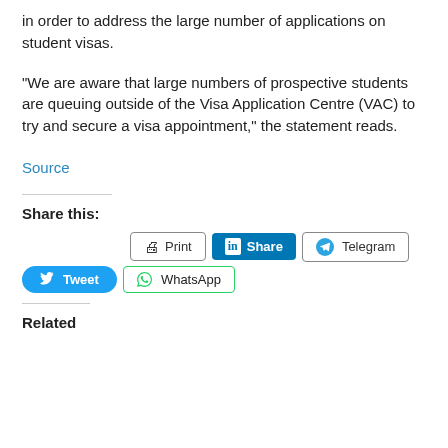in order to address the large number of applications on student visas.
“We are aware that large numbers of prospective students are queuing outside of the Visa Application Centre (VAC) to try and secure a visa appointment,” the statement reads.
Source
Share this:
[Figure (other): Share buttons: Print, LinkedIn Share, Telegram, Tweet, WhatsApp]
Related